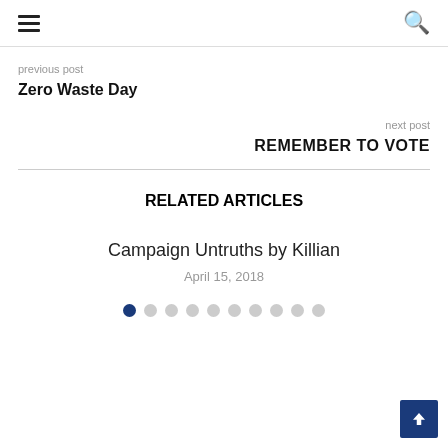≡  🔍
previous post
Zero Waste Day
next post
REMEMBER TO VOTE
RELATED ARTICLES
Campaign Untruths by Killian
April 15, 2018